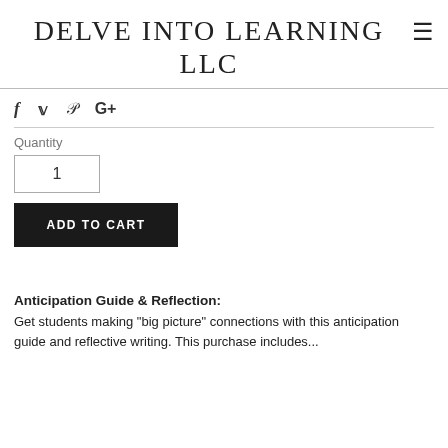DELVE INTO LEARNING LLC
[Figure (infographic): Social media icons: Facebook (f), Twitter (bird), Pinterest (P), Google+ (G+)]
Quantity
1
ADD TO CART
Anticipation Guide & Reflection:
Get students making "big picture" connections with this anticipation guide and reflective writing. This purchase includes...